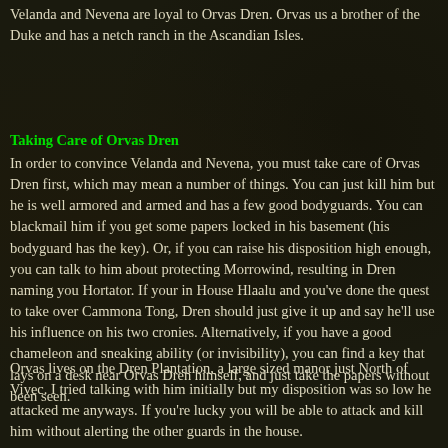Velanda and Nevena are loyal to Orvas Dren. Orvas us a brother of the Duke and has a netch ranch in the Ascandian Isles.
Taking Care of Orvas Dren
In order to convince Velanda and Nevena, you must take care of Orvas Dren first, which may mean a number of things. You can just kill him but he is well armored and armed and has a few good bodyguards. You can blackmail him if you get some papers locked in his basement (his bodyguard has the key). Or, if you can raise his disposition high enough, you can talk to him about protecting Morrowind, resulting in Dren naming you Hortator. If your in House Hlaalu and you've done the quest to take over Cammona Tong, Dren should just give it up and say he'll use his influence on his two cronies. Alternatively, if you have a good chameleon and sneaking ability (or invisibility), you can find a key that lays on a desk near Orvas Dren himself, and just take the papers without been seen.
Orvas lives on the Dren Plantation, a large sized manor just North of Vivec. I tried talking with him initially but my disposition was so low he attacked me anyways. If you're lucky you will be able to attack and kill him without alerting the other guards in the house.